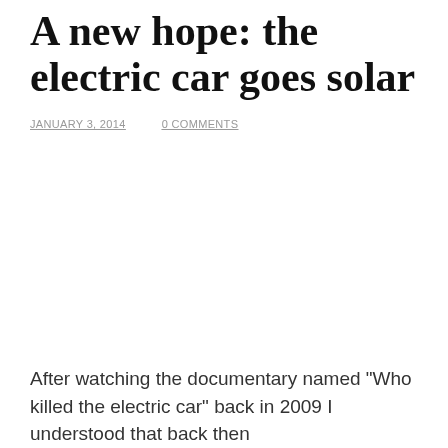A new hope: the electric car goes solar
JANUARY 3, 2014    0 COMMENTS
After watching the documentary named "Who killed the electric car" back in 2009 I understood that back then